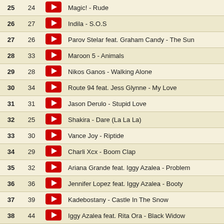| # | Prev |  | Song |
| --- | --- | --- | --- |
| 25 | 24 | ▶ | Magic! - Rude |
| 26 | 27 | ▶ | Indila - S.O.S |
| 27 | 26 | ▶ | Parov Stelar feat. Graham Candy - The Sun |
| 28 | 33 | ▶ | Maroon 5 - Animals |
| 29 | 28 | ▶ | Nikos Ganos - Walking Alone |
| 30 | 34 | ▶ | Route 94 feat. Jess Glynne - My Love |
| 31 | 31 | ▶ | Jason Derulo - Stupid Love |
| 32 | 25 | ▶ | Shakira - Dare (La La La) |
| 33 | 30 | ▶ | Vance Joy - Riptide |
| 34 | 29 | ▶ | Charli Xcx - Boom Clap |
| 35 | 32 | ▶ | Ariana Grande feat. Iggy Azalea - Problem |
| 36 | 36 | ▶ | Jennifer Lopez feat. Iggy Azalea - Booty |
| 37 | 39 | ▶ | Kadebostany - Castle In The Snow |
| 38 | 44 | ▶ | Iggy Azalea feat. Rita Ora - Black Widow |
| 39 | 37 | ▶ | Crocy feat. Ashley Berndt - Cry |